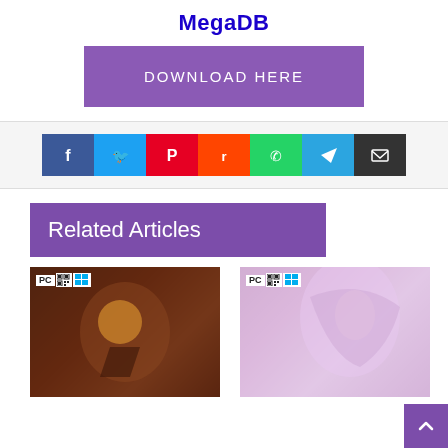MegaDB
[Figure (other): Purple download button labeled DOWNLOAD HERE]
[Figure (other): Social share icons row: Facebook, Twitter, Pinterest, Reddit, WhatsApp, Telegram, Email]
Related Articles
[Figure (other): Game thumbnail 1 with PC/Windows badge overlay showing action game characters]
[Figure (other): Game thumbnail 2 with PC/Windows badge overlay showing anime girl character]